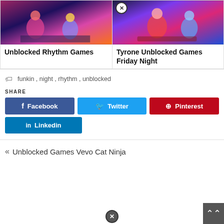[Figure (screenshot): Game thumbnail for Unblocked Rhythm Games - colorful cartoon rhythm game characters]
Unblocked Rhythm Games
[Figure (screenshot): Game thumbnail for Tyrone Unblocked Games Friday Night - cartoon rhythm game with close button overlay]
Tyrone Unblocked Games Friday Night
funkin, night, rhythm, unblocked
SHARE
Facebook
Twitter
Pinterest
Linkedin
« Unblocked Games Vevo Cat Ninja